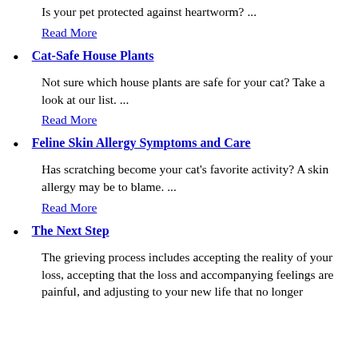Is your pet protected against heartworm? ...
Read More
Cat-Safe House Plants
Not sure which house plants are safe for your cat? Take a look at our list. ...
Read More
Feline Skin Allergy Symptoms and Care
Has scratching become your cat's favorite activity? A skin allergy may be to blame. ...
Read More
The Next Step
The grieving process includes accepting the reality of your loss, accepting that the loss and accompanying feelings are painful, and adjusting to your new life that no longer